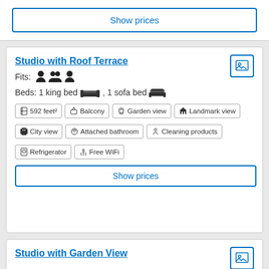Show prices
Studio with Roof Terrace
Fits: (3 person icons)
Beds: 1 king bed , 1 sofa bed
592 feet²
Balcony
Garden view
Landmark view
City view
Attached bathroom
Cleaning products
Refrigerator
Free WiFi
Show prices
Studio with Garden View
Fits: (3 person icons)
Bed: 1 king bed
624 feet²
Garden view
Landmark view
City view